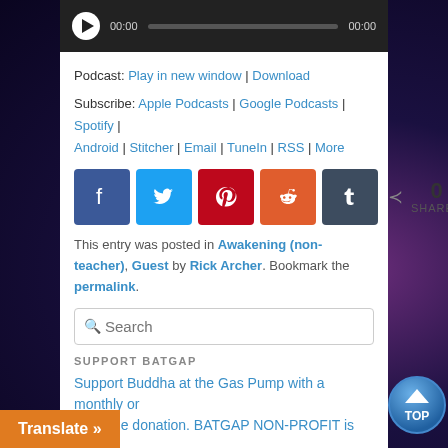[Figure (screenshot): Audio player bar with play button, time display 00:00, progress bar, and end time 00:00 on dark background]
Podcast: Play in new window | Download
Subscribe: Apple Podcasts | Google Podcasts | Spotify | Android | Stitcher | Email | TuneIn | RSS | More
[Figure (infographic): Social sharing buttons: Facebook, Twitter, Pinterest, Reddit, Tumblr icons with 0 SHARES count]
This entry was posted in Awakening (non-teacher), Guest by Rick Archer. Bookmark the permalink.
[Figure (screenshot): Search input box with placeholder text Search]
SUPPORT BATGAP
Support Buddha at the Gas Pump with a monthly or one-time donation. BATGAP NON-PROFIT is tax Section 501(c)(3) of the federal tax